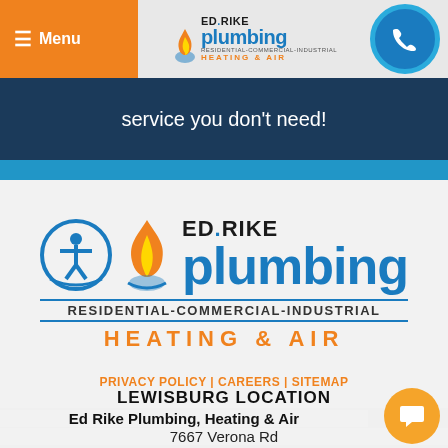[Figure (screenshot): Website header with orange Menu button, Ed Rike Plumbing logo, and blue phone circle icon]
service you don't need!
[Figure (logo): Large Ed Rike Plumbing Heating & Air logo with accessibility icon, flame graphic, blue plumbing text, RESIDENTIAL-COMMERCIAL-INDUSTRIAL, HEATING & AIR]
PRIVACY POLICY | CAREERS | SITEMAP
LEWISBURG LOCATION
Ed Rike Plumbing, Heating & Air
7667 Verona Rd
Lewisburg, OH 45338